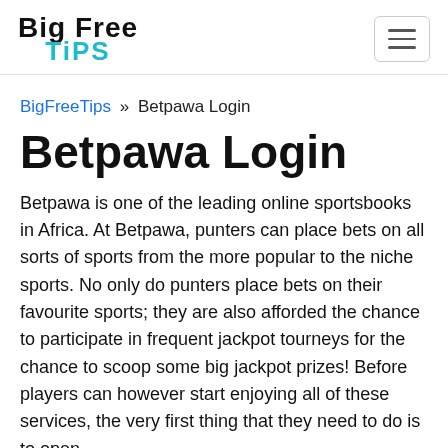Big Free Tips
BigFreeTips » Betpawa Login
Betpawa Login
Betpawa is one of the leading online sportsbooks in Africa. At Betpawa, punters can place bets on all sorts of sports from the more popular to the niche sports. No only do punters place bets on their favourite sports; they are also afforded the chance to participate in frequent jackpot tourneys for the chance to scoop some big jackpot prizes! Before players can however start enjoying all of these services, the very first thing that they need to do is to open